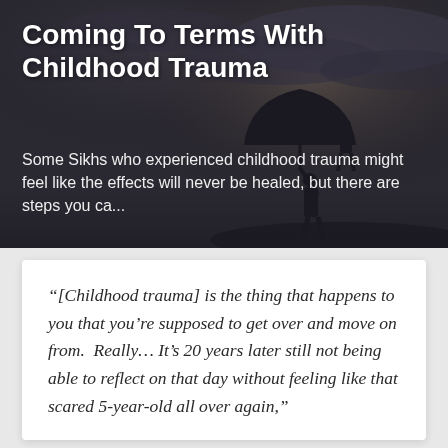[Figure (photo): Dark atmospheric photo showing silhouettes of figures under an umbrella against a stormy sky, serving as hero banner background for article about childhood trauma]
Coming To Terms With Childhood Trauma
Some Sikhs who experienced childhood trauma might feel like the effects will never be healed, but there are steps you ca...
“[Childhood trauma] is the thing that happens to you that you’re supposed to get over and move on from. Really… It’s 20 years later still not being able to reflect on that day without feeling like that scared 5-year-old all over again,”